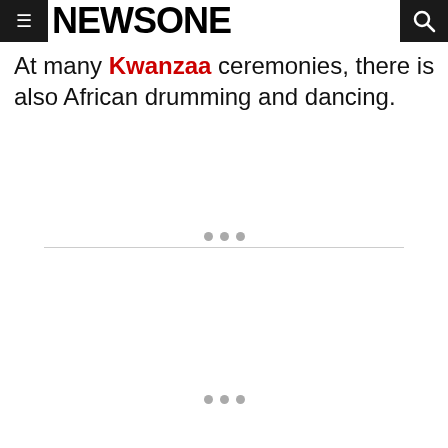NEWSONE
At many Kwanzaa ceremonies, there is also African drumming and dancing.